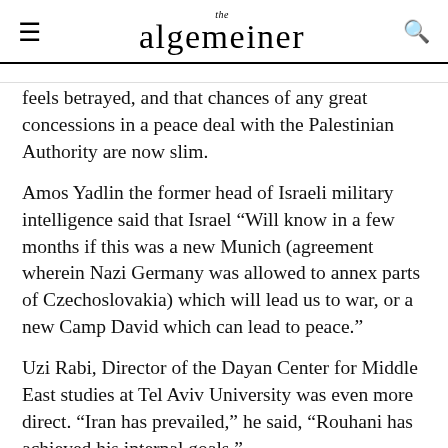the algemeiner
feels betrayed, and that chances of any great concessions in a peace deal with the Palestinian Authority are now slim.
Amos Yadlin the former head of Israeli military intelligence said that Israel “Will know in a few months if this was a new Munich (agreement wherein Nazi Germany was allowed to annex parts of Czechoslovakia) which will lead us to war, or a new Camp David which can lead to peace.”
Uzi Rabi, Director of the Dayan Center for Middle East studies at Tel Aviv University was even more direct. “Iran has prevailed,” he said, “Rouhani has achieved his internal goals.”